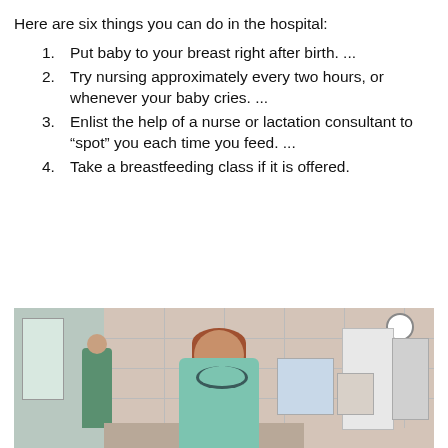Here are six things you can do in the hospital:
Put baby to your breast right after birth. ...
Try nursing approximately every two hours, or whenever your baby cries. ...
Enlist the help of a nurse or lactation consultant to “spot” you each time you feed. ...
Take a breastfeeding class if it is offered.
[Figure (photo): A healthcare professional in a teal/green scrub top with a stethoscope standing in what appears to be a hospital room or nursery. Another person in scrubs is visible in the background on the left. Medical equipment is visible in the background. Pink/beige tiled walls are visible.]